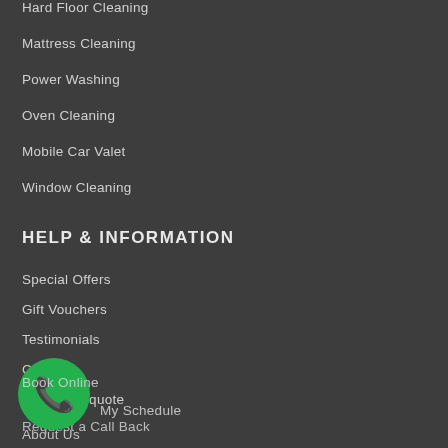Hard Floor Cleaning
Mattress Cleaning
Power Washing
Oven Cleaning
Mobile Car Valet
Window Cleaning
HELP & INFORMATION
Special Offers
Gift Vouchers
Testimonials
Contact
Get a free quote
Request a Call Back
Book Online
My Schedule
About Us
[Figure (other): Green circular phone call button icon at bottom left]